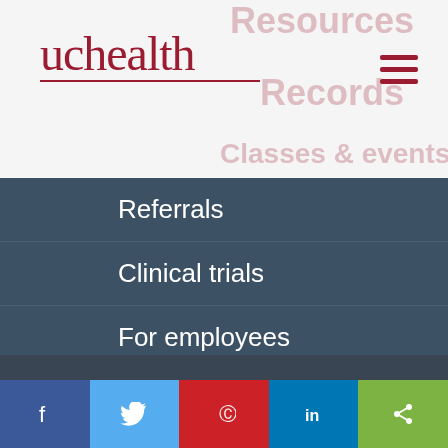[Figure (logo): UCHealth logo with red serif text and underline]
Referrals
Clinical trials
For employees
For professionals
News & stories
We use cookies to make interactions with our website easy and meaningful. By continuing to use this site you are giving us your consent. Learn how cookies are used on our site.
Accept terms